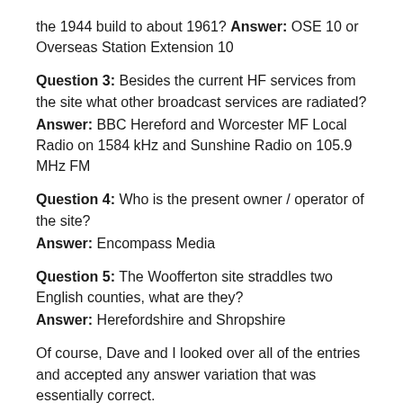the 1944 build to about 1961? Answer: OSE 10 or Overseas Station Extension 10
Question 3: Besides the current HF services from the site what other broadcast services are radiated? Answer: BBC Hereford and Worcester MF Local Radio on 1584 kHz and Sunshine Radio on 105.9 MHz FM
Question 4: Who is the present owner / operator of the site? Answer: Encompass Media
Question 5: The Woofferton site straddles two English counties, what are they? Answer: Herefordshire and Shropshire
Of course, Dave and I looked over all of the entries and accepted any answer variation that was essentially correct.
We had a total of 318 entries from SWLing Post readers, a